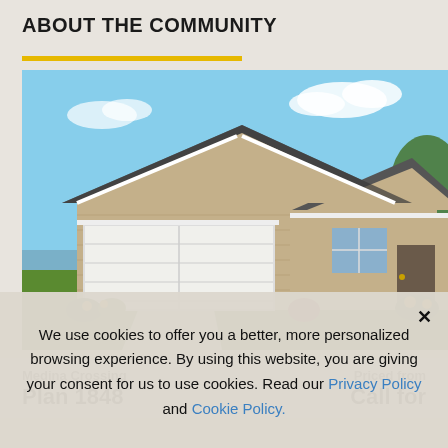ABOUT THE COMMUNITY
[Figure (photo): Exterior rendering of a single-story brick house with two-car garage, dark shingle roof, and landscaped front yard]
Medina Crossing
Priced from
Plan 1848
Call for
We use cookies to offer you a better, more personalized browsing experience. By using this website, you are giving your consent for us to use cookies. Read our Privacy Policy and Cookie Policy.